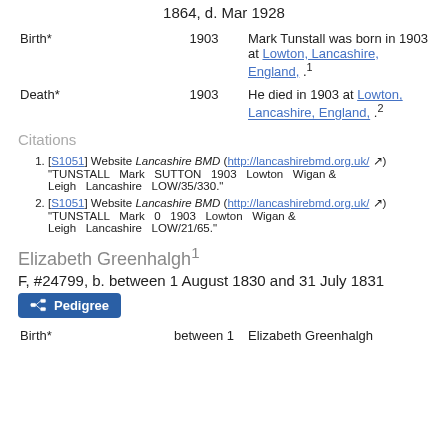1864, d. Mar 1928
| Event | Date | Description |
| --- | --- | --- |
| Birth* | 1903 | Mark Tunstall was born in 1903 at Lowton, Lancashire, England, .1 |
| Death* | 1903 | He died in 1903 at Lowton, Lancashire, England, .2 |
Citations
[S1051] Website Lancashire BMD (http://lancashirebmd.org.uk/) "TUNSTALL Mark SUTTON 1903 Lowton Wigan & Leigh Lancashire LOW/35/330."
[S1051] Website Lancashire BMD (http://lancashirebmd.org.uk/) "TUNSTALL Mark 0 1903 Lowton Wigan & Leigh Lancashire LOW/21/65."
Elizabeth Greenhalgh1
F, #24799, b. between 1 August 1830 and 31 July 1831
Pedigree
| Event | Date | Description |
| --- | --- | --- |
| Birth* | between 1 | Elizabeth Greenhalgh |